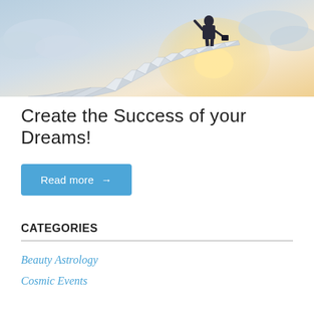[Figure (illustration): A man in a business suit carrying a briefcase walks up winding white stairs rising through clouds toward a bright glowing light, symbolizing success and ambition.]
Create the Success of your Dreams!
Read more →
CATEGORIES
Beauty Astrology
Cosmic Events